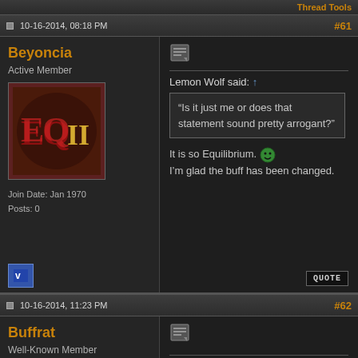Thread Tools
10-16-2014, 08:18 PM  #61
Beyoncia
Active Member
[Figure (logo): EQII game logo on dark brown background]
Join Date: Jan 1970
Posts: 0
Lemon Wolf said: ↑
“Is it just me or does that statement sound pretty arrogant?”
It is so Equilibrium. 😊
I'm glad the buff has been changed.
10-16-2014, 11:23 PM  #62
Buffrat
Well-Known Member
[Figure (photo): Avatar of a cartoon character wearing sunglasses]
I'd like to think they removed it because it screwed up the scaling of mitigation and was really OP for tank damage reduction against level 108 mobs, but maybe I'm wrong.